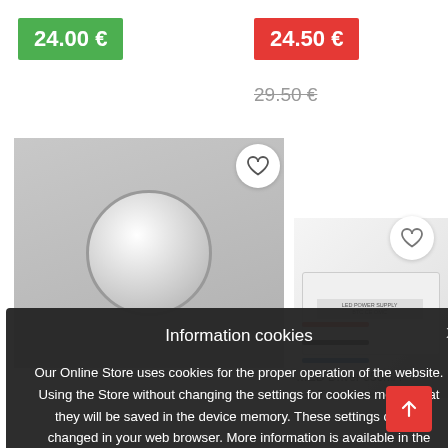24.00 €
24.50 €
29.50 €
[Figure (photo): Recessed ceiling spotlight, white, circular trim]
[Figure (photo): LED driver/transformer device with colored wires (red, black, blue), white rectangular box with labels and CE marking]
…ED Driver 350mA…5 Transformer
Information cookies
Our Online Store uses cookies for the proper operation of the website. Using the Store without changing the settings for cookies means that they will be saved in the device memory. These settings can be changed in your web browser. More information is available in the Cookies Policy.
I accept
More